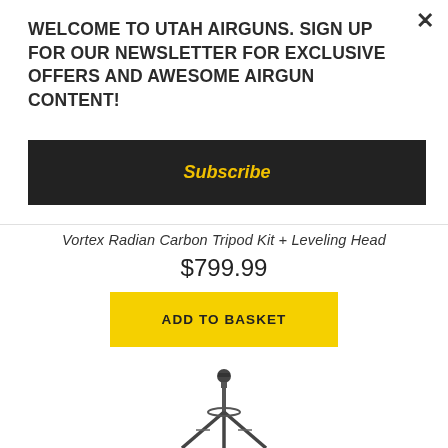WELCOME TO UTAH AIRGUNS. SIGN UP FOR OUR NEWSLETTER FOR EXCLUSIVE OFFERS AND AWESOME AIRGUN CONTENT!
×
Subscribe
Vortex Radian Carbon Tripod Kit + Leveling Head
$799.99
ADD TO BASKET
[Figure (photo): Vortex Radian Carbon Tripod with leveling head, shown standing on three legs with a ball head mount at the top]